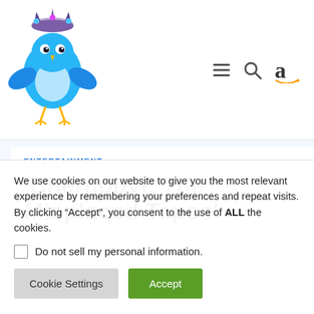[Figure (logo): Blue cartoon bird wearing a jeweled crown, serving as website logo]
[Figure (illustration): Navigation icons: hamburger menu, search magnifying glass, and Amazon 'a' logo]
ENTERTAINMENT
'Chernobyl: The Misplaced Tapes'
We use cookies on our website to give you the most relevant experience by remembering your preferences and repeat visits. By clicking “Accept”, you consent to the use of ALL the cookies.
Do not sell my personal information.
Cookie Settings
Accept